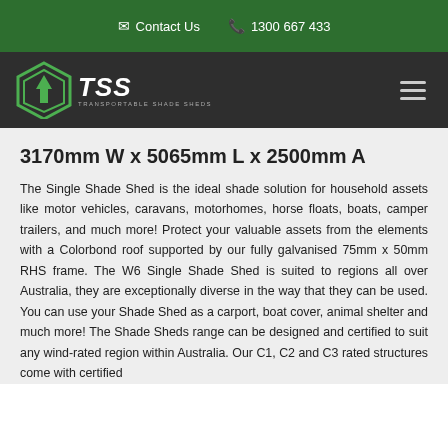Contact Us   1300 667 433
[Figure (logo): TSS Transportable Shade Sheds logo — hexagonal green icon with upward arrow and 'TSS' italic white text with tagline 'Transportable Shade Sheds']
3170mm W x 5065mm L x 2500mm A
The Single Shade Shed is the ideal shade solution for household assets like motor vehicles, caravans, motorhomes, horse floats, boats, camper trailers, and much more! Protect your valuable assets from the elements with a Colorbond roof supported by our fully galvanised 75mm x 50mm RHS frame. The W6 Single Shade Shed is suited to regions all over Australia, they are exceptionally diverse in the way that they can be used. You can use your Shade Shed as a carport, boat cover, animal shelter and much more! The Shade Sheds range can be designed and certified to suit any wind-rated region within Australia. Our C1, C2 and C3 rated structures come with certified